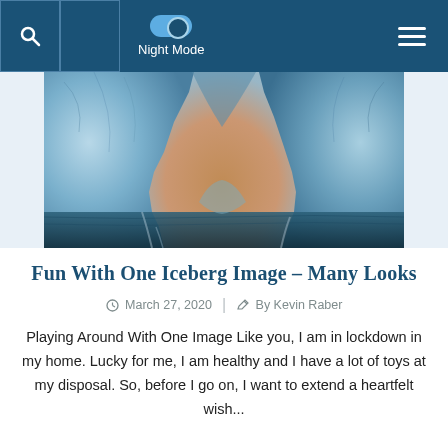Night Mode
[Figure (photo): Dramatic blue iceberg arch with golden sky visible through the opening, reflected in dark water below]
Fun With One Iceberg Image – Many Looks
March 27, 2020  |  By Kevin Raber
Playing Around With One Image Like you, I am in lockdown in my home. Lucky for me, I am healthy and I have a lot of toys at my disposal. So, before I go on, I want to extend a heartfelt wish...